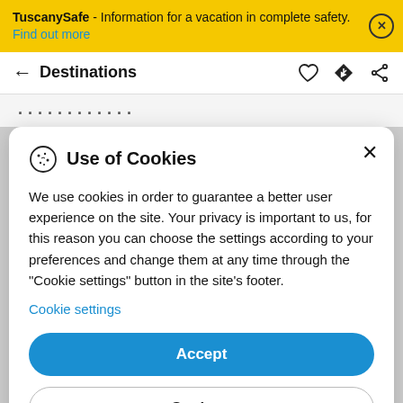TuscanySafe - Information for a vacation in complete safety. Find out more
← Destinations
Use of Cookies
We use cookies in order to guarantee a better user experience on the site. Your privacy is important to us, for this reason you can choose the settings according to your preferences and change them at any time through the "Cookie settings" button in the site's footer.
Cookie settings
Accept
Settings
In the same square, we find the Municipal